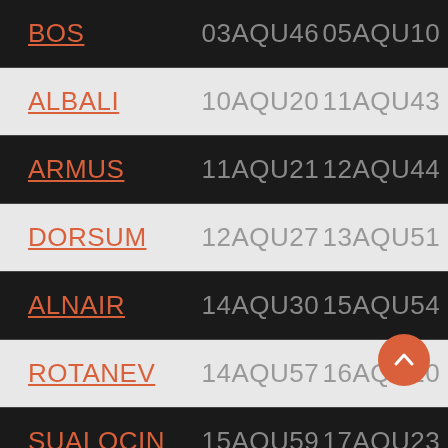| Name | Col1 | Col2 |
| --- | --- | --- |
| BOS | 03AQU46 | 05AQU10 |
| ALBALI | 10AQU20 | 11AQU43 |
| ARMUS | 11AQU21 | 12AQU44 |
| DORSUM | 12AQU27 | 13AQU51 |
| ALNAIR | 14AQU30 | 15AQU54 |
| ROTANEV | 14AQU57 | 16AQU20 |
| SUALOCIN | 15AQU59 | 17AQU23 |